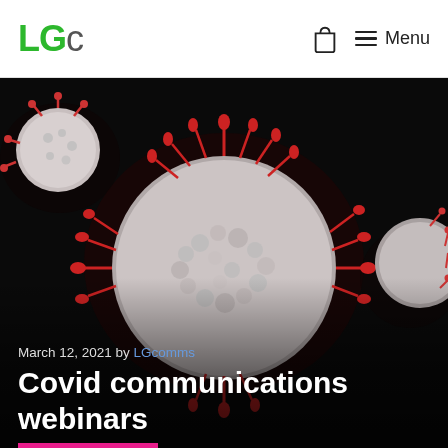LGc | Menu
[Figure (photo): 3D illustration of coronavirus particles (SARS-CoV-2) with white spherical bodies and red spike proteins on a dark/black background.]
March 12, 2021 by LGcomms
Covid communications webinars